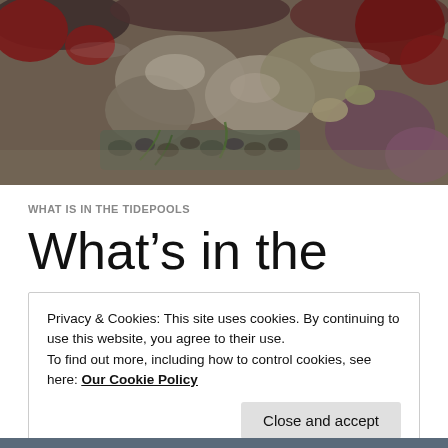[Figure (photo): Close-up photograph of a tidepool with rocks, mussels, sea anemones, red algae, and various marine organisms]
WHAT IS IN THE TIDEPOOLS
What's in the
Privacy & Cookies: This site uses cookies. By continuing to use this website, you agree to their use.
To find out more, including how to control cookies, see here: Our Cookie Policy
Close and accept